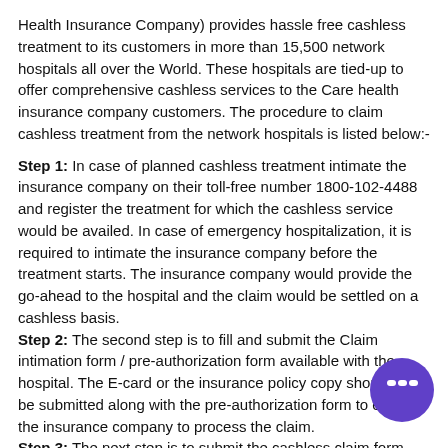Health Insurance Company) provides hassle free cashless treatment to its customers in more than 15,500 network hospitals all over the World. These hospitals are tied-up to offer comprehensive cashless services to the Care health insurance company customers. The procedure to claim cashless treatment from the network hospitals is listed below:-
Step 1: In case of planned cashless treatment intimate the insurance company on their toll-free number 1800-102-4488 and register the treatment for which the cashless service would be availed. In case of emergency hospitalization, it is required to intimate the insurance company before the treatment starts. The insurance company would provide the go-ahead to the hospital and the claim would be settled on a cashless basis.
Step 2: The second step is to fill and submit the Claim intimation form / pre-authorization form available with the hospital. The E-card or the insurance policy copy should also be submitted along with the pre-authorization form to enable the insurance company to process the claim.
Step 3: The next step is to submit the cashless claim form with all the other documents as required to process the cl...
Step 4: The form and the other documents submitted would be verified by the insurance company and if found satisfactory, a go-